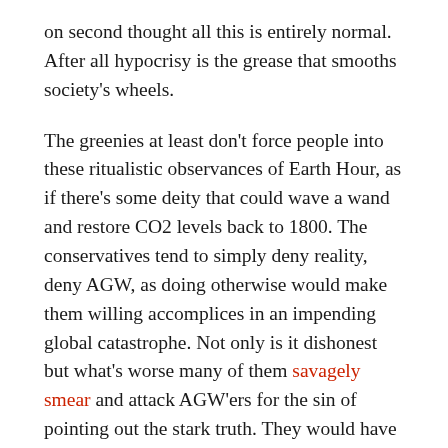on second thought all this is entirely normal. After all hypocrisy is the grease that smooths society's wheels.
The greenies at least don't force people into these ritualistic observances of Earth Hour, as if there's some deity that could wave a wand and restore CO2 levels back to 1800. The conservatives tend to simply deny reality, deny AGW, as doing otherwise would make them willing accomplices in an impending global catastrophe. Not only is it dishonest but what's worse many of them savagely smear and attack AGW'ers for the sin of pointing out the stark truth. They would have felt at home within the ranks of the NKVD.
Only very drastic interventions now stand a chance of averting tipping points that will likely send the Earth into an extreme greenhouse state by the end of the century… interventions that can only be implemented at this late stage of the game by some kind of global dictatorship. Desirable or not, justified or not, is